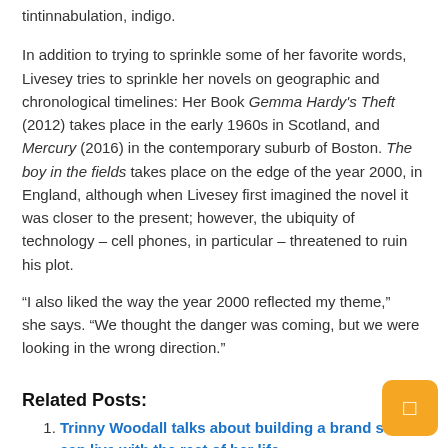tintinnabulation, indigo.
In addition to trying to sprinkle some of her favorite words, Livesey tries to sprinkle her novels on geographic and chronological timelines: Her Book Gemma Hardy's Theft (2012) takes place in the early 1960s in Scotland, and Mercury (2016) in the contemporary suburb of Boston. The boy in the fields takes place on the edge of the year 2000, in England, although when Livesey first imagined the novel it was closer to the present; however, the ubiquity of technology – cell phones, in particular – threatened to ruin his plot.
“I also liked the way the year 2000 reflected my theme,” she says. “We thought the danger was coming, but we were looking in the wrong direction.”
Related Posts:
Trinny Woodall talks about building a brand she can live with the rest of her life